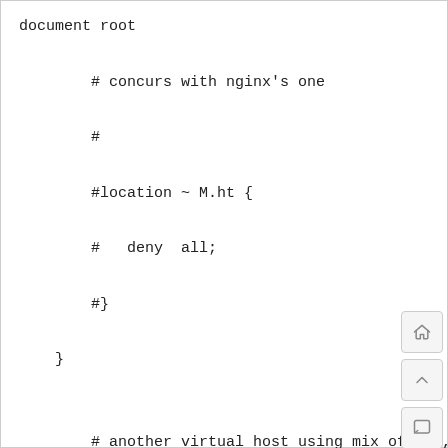document root

        # concurs with nginx's one

        #

        #location ~ \.ht {

        #   deny  all;

        #}

    }


        # another virtual host using mix of IP-, name-, and port-based configuration